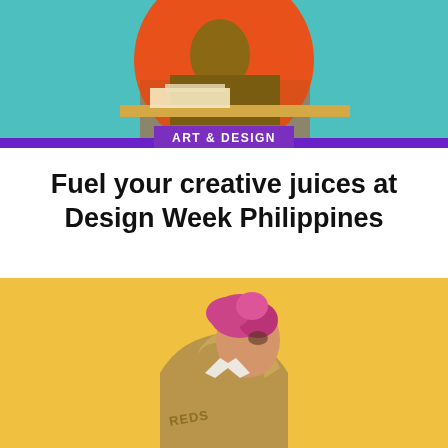[Figure (photo): Header image with colorful illustration showing a person at a desk against an orange circle on teal background, with ART & DESIGN category badge overlay]
Fuel your creative juices at Design Week Philippines
by Rogin Losa • 4 years ago
The Design Center of the Philippines celebrates the 10th Design...
[Figure (photo): Person with pink/red curly hair wearing a khaki hoodie with text on sleeve, looking upward, against a warm yellow/golden background]